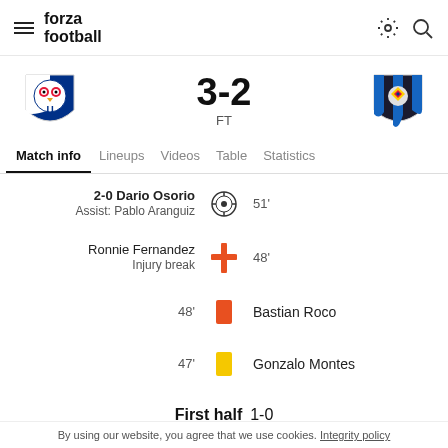forza football
[Figure (infographic): Match score display: Universidad de Chile 3-2 Huachipato, FT (Full Time), with team logos]
Match info | Lineups | Videos | Table | Statistics
2-0 Dario Osorio, Assist: Pablo Aranguiz, goal icon, 51'
Ronnie Fernandez, Injury break, medical cross icon, 48'
48' orange card icon, Bastian Roco
47' yellow card icon, Gonzalo Montes
First half  1-0
By using our website, you agree that we use cookies. Integrity policy